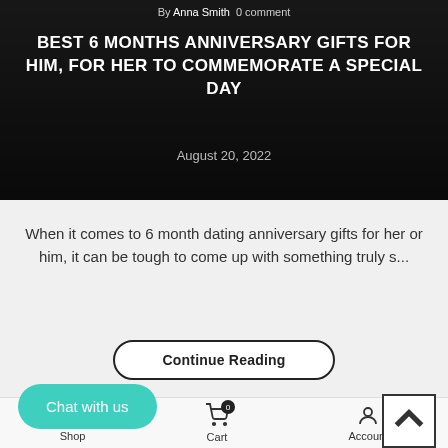By Anna Smith  0 comment
BEST 6 MONTHS ANNIVERSARY GIFTS FOR HIM, FOR HER TO COMMEMORATE A SPECIAL DAY
August 20, 2022
When it comes to 6 month dating anniversary gifts for her or him, it can be tough to come up with something truly s...
Continue Reading
Chat with us
Shop  Cart  Account